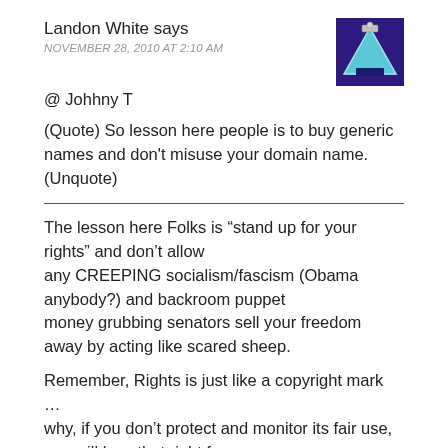Landon White says
NOVEMBER 28, 2010 AT 2:10 AM
[Figure (illustration): Purple square avatar with a triangle/pyramid shape in blue and teal with a small icon on top]
@ Johhny T
(Quote) So lesson here people is to buy generic names and don't misuse your domain name. (Unquote)
The lesson here Folks is “stand up for your rights” and don’t allow any CREEPING socialism/fascism (Obama anybody?) and backroom puppet money grubbing senators sell your freedom away by acting like scared sheep.
Remember, Rights is just like a copyright mark … why, if you don’t protect and monitor its fair use, you will lose that right forever.